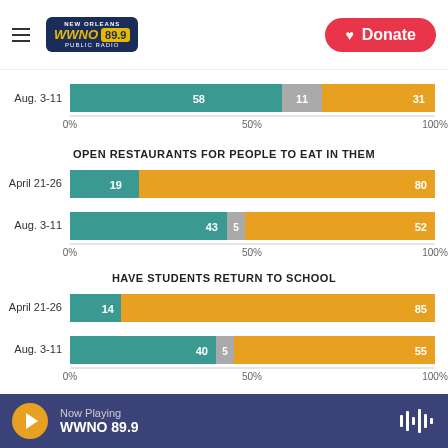[Figure (logo): WWNO 89.9 New Orleans Public Radio logo with hamburger menu icon]
[Figure (other): Red Donate button with heart icon]
[Figure (stacked-bar-chart): Aug. 3-11 bar]
OPEN RESTAURANTS FOR PEOPLE TO EAT IN THEM
[Figure (stacked-bar-chart): Open Restaurants for People to Eat in Them]
HAVE STUDENTS RETURN TO SCHOOL
[Figure (stacked-bar-chart): Have Students Return to School]
Now Playing WWNO 89.9